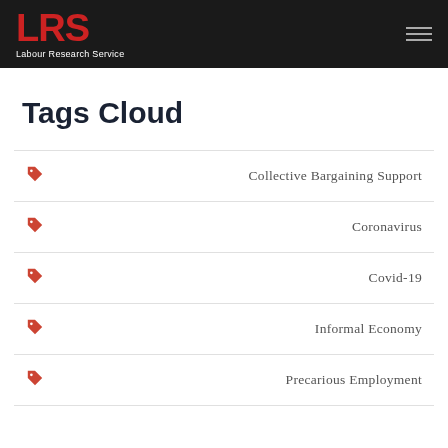LRS Labour Research Service
Tags Cloud
Collective Bargaining Support
Coronavirus
Covid-19
Informal Economy
Precarious Employment